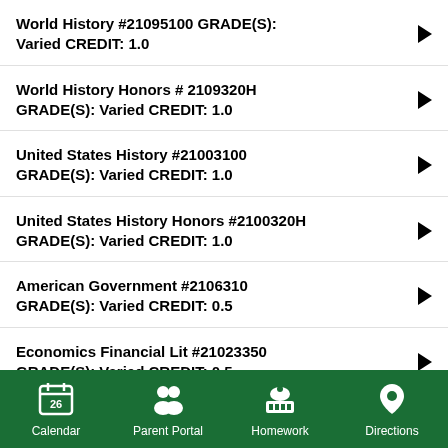World History #21095100 GRADE(S): Varied CREDIT: 1.0
World History Honors # 2109320H GRADE(S): Varied CREDIT: 1.0
United States History #21003100 GRADE(S): Varied CREDIT: 1.0
United States History Honors #2100320H GRADE(S): Varied CREDIT: 1.0
American Government #2106310 GRADE(S): Varied CREDIT: 0.5
Economics Financial Lit #21023350 GRADE(S): Varied CREDIT: 0.5
Calendar  Parent Portal  Homework  Directions